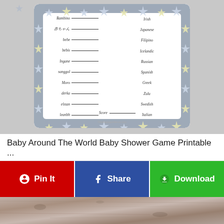[Figure (illustration): Baby Around The World baby shower game card with gray star border. Left column lists baby words in different languages with blank lines: Bambino, 赤ちゃん, bebe, bebis, Ingane, sanggol, Moro, derka, elstan, leanbh. Right column lists languages: Irish, Japanese, Filipino, Icelandic, Russian, Spanish, Greek, Zulu, Swedish, Italian. Score line at bottom.]
Baby Around The World Baby Shower Game Printable ...
[Figure (illustration): Three social sharing/action buttons: Pin It (red, Pinterest icon), Share (blue, Facebook icon), Download (green, download icon)]
[Figure (photo): Partial photo of a wood or concrete textured surface, dark grainy texture visible at bottom of page]